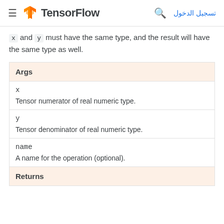TensorFlow - تسجيل الدخول
x and y must have the same type, and the result will have the same type as well.
| Args |
| --- |
| x | Tensor numerator of real numeric type. |
| y | Tensor denominator of real numeric type. |
| name | A name for the operation (optional). |
| Returns |  |